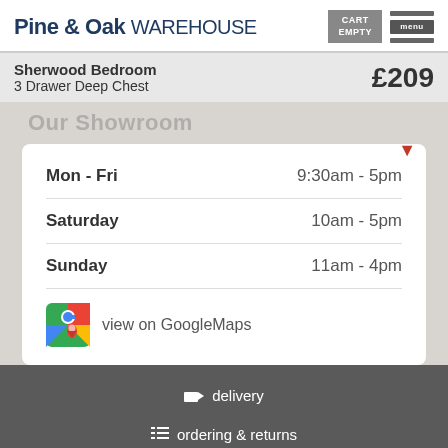Pine & Oak WAREHOUSE
Sherwood Bedroom 3 Drawer Deep Chest £209
Our Showroom
| Day | Hours |
| --- | --- |
| Mon - Fri | 9:30am - 5pm |
| Saturday | 10am - 5pm |
| Sunday | 11am - 4pm |
view on GoogleMaps
delivery
ordering & returns